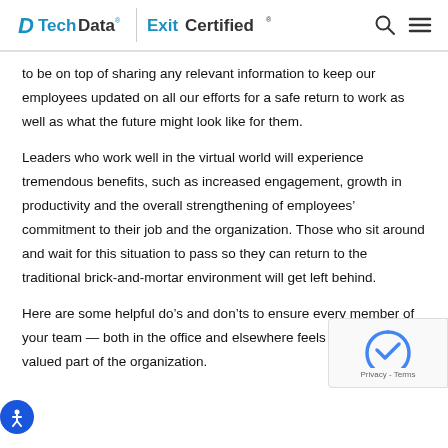Tech Data | ExitCertified®
to be on top of sharing any relevant information to keep our employees updated on all our efforts for a safe return to work as well as what the future might look like for them.
Leaders who work well in the virtual world will experience tremendous benefits, such as increased engagement, growth in productivity and the overall strengthening of employees' commitment to their job and the organization. Those who sit around and wait for this situation to pass so they can return to the traditional brick-and-mortar environment will get left behind.
Here are some helpful do's and don'ts to ensure every member of your team — both in the office and elsewhere feels like they are a valued part of the organization.